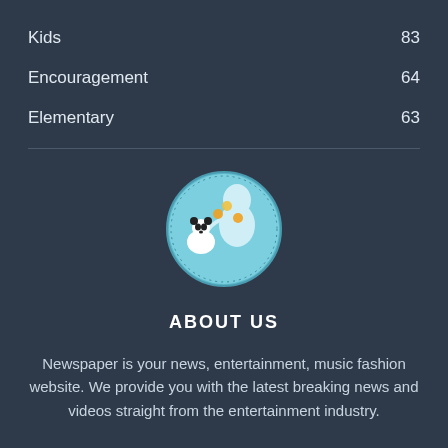Kids 83
Encouragement 64
Elementary 63
[Figure (logo): Circular logo with light blue background showing a cartoon panda/dog and a person with text around the border reading 'EATSINAPOREMYF.COM']
ABOUT US
Newspaper is your news, entertainment, music fashion website. We provide you with the latest breaking news and videos straight from the entertainment industry.